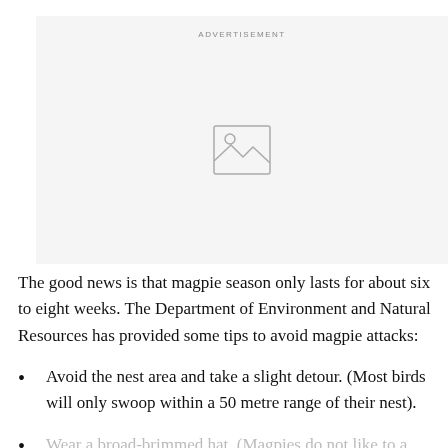[Figure (other): Advertisement placeholder box with image icon and 'ADVERTISEMENT' label at top]
The good news is that magpie season only lasts for about six to eight weeks. The Department of Environment and Natural Resources has provided some tips to avoid magpie attacks:
Avoid the nest area and take a slight detour. (Most birds will only swoop within a 50 metre range of their nest).
Wear a broad-brimmed hat. (Magpies do not like to be...